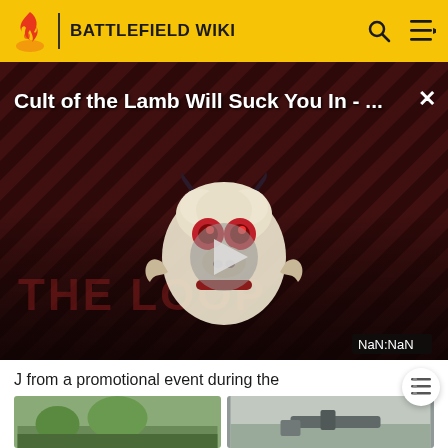BATTLEFIELD WIKI
[Figure (screenshot): Video player overlay showing 'Cult of the Lamb Will Suck You In - ...' with a cartoon lamb character logo, play button, THE LOOP watermark, and NaN:NaN timestamp on a dark red diagonal-striped background]
J from a promotional event during the 2010 FIFA World Cup . A pilfered variant of the Golden PKM is also available to the Royal Army, released for the Football Fiesta 2014 update.
[Figure (photo): Two small thumbnail images at the bottom of the page]